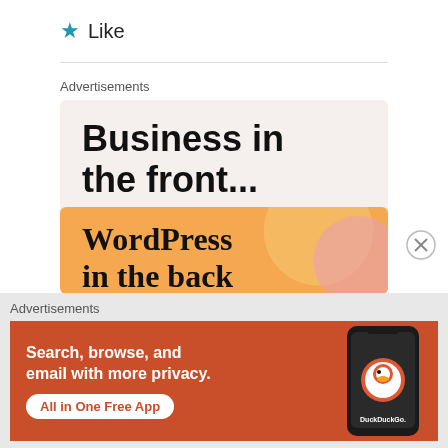★ Like
Advertisements
[Figure (screenshot): Advertisement banner: 'Business in the front...' with WordPress in the back text on orange background]
Advertisements
[Figure (screenshot): DuckDuckGo advertisement: 'Search, browse, and email with more privacy. All in One Free App' with phone graphic on red/orange background]